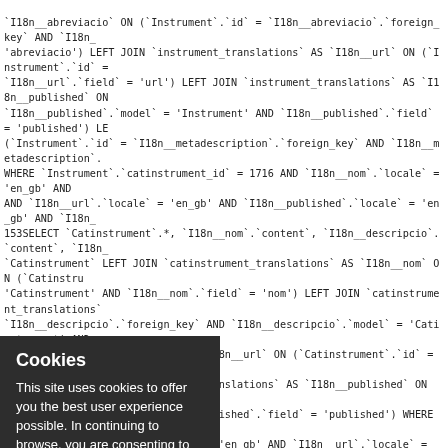`I18n__abreviacio` ON (`Instrument`.`id` = `I18n__abreviacio`.`foreign_key` AND `I18n__abreviacio`.`model` = 'abreviacio') LEFT JOIN `instrument_translations` AS `I18n__url` ON (`Instrument`.`id` = `I18n__url`.`foreign_key` AND `I18n__url`.`field` = 'url') LEFT JOIN `instrument_translations` AS `I18n__published` ON (`Instrument`.`id` = `I18n__published`.`foreign_key` AND `I18n__published`.`model` = 'Instrument' AND `I18n__published`.`field` = 'published') LE (`Instrument`.`id` = `I18n__metadescription`.`foreign_key` AND `I18n__metadescription`. WHERE `Instrument`.`catinstrument_id` = 1716 AND `I18n__nom`.`locale` = 'en_gb' AN AND `I18n__url`.`locale` = 'en_gb' AND `I18n__published`.`locale` = 'en_gb' AND `I18n__
153SELECT `Catinstrument`.*, `I18n__nom`.`content`, `I18n__descripcio`.`content`, `I18n__ `Catinstrument` LEFT JOIN `catinstrument_translations` AS `I18n__nom` ON (`Catstru 'Catinstrument' AND `I18n__nom`.`field` = 'nom') LEFT JOIN `catinstrument_translations `I18n__descripcio`.`foreign_key` AND `I18n__descripcio`.`model` = 'Catinstrument' AND `catinstrument_translations` AS `I18n__url` ON (`Catinstrument`.`id` = `I18n__url`.`foreig 'url') LEFT JOIN `catinstrument_translations` AS `I18n__published` ON (`Catinstrument`.
[Figure (screenshot): Cookie consent overlay box on dark background with title 'Cookies' and text 'This site uses cookies to offer you the best user experience possible. In continuing to browse, you are consenting to accept both the aforementioned cookies and our cookies policy.']
154S `I18n__nom`.`content`, `I18n__plural`.`content`, `I18n__abreviac `content` FROM `instruments` AS `Instrument` LEFT JOIN `inst y` AND `I18n__nom`.`model` = 'Instrument' AND `I18n__nom`. (`I18n__plural`.`foreign_key` AND `I18n__plural`.`model` = 'Instrumen `Instrument`.`id` = `I18n__abreviacio`.`foreign_key` AND `I18n__ `instrument_translations` AS `I18n__url` ON (`Instrument`.`id` = LEFT JOIN `instrument_translations` AS `I18n__published` ON `el` = 'Instrument' AND `I18n__published`.`field` = 'published') LE (`I18n__metadescription`.`foreign_key` AND `I18n__metadescription`. W `catinstrument_id` = 1689 AND `I18n__nom`.`locale` = 'en_gb' AN = 'en_gb' AND `I18n__published`.`locale` = 'en_gb' AND `I18n_
155S .*, `I18n__nom`.`content`, `I18n__descripcio`.`content`, `I18n__ `Catinstrument` LEFT JOIN `catinstrument_translations` AS `I18n__nom` ON (`Catstru 'Catinstrument' AND `I18n__nom`.`field` = 'nom') LEFT JOIN `catinstrument_translations `I18n__descripcio`.`foreign_key` AND `I18n__descripcio`.`model` = 'Catinstrument' AND `catinstrument_translations` AS `I18n__url` ON (`Catinstrument`.`id` = `I18n__url`.`foreig d') LEFT JOIN `catinstrument_translations` AS `I18n__published` ON (`Catinstrument`.